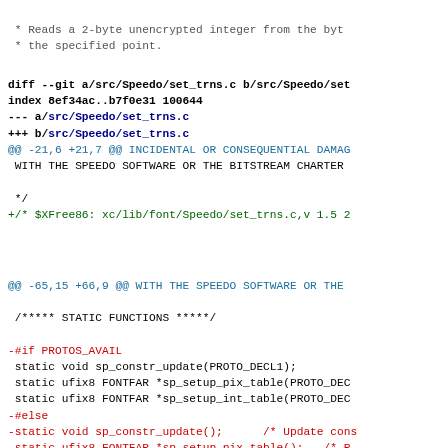* Reads a 2-byte unencrypted integer from the byt
 * the specified point.
diff --git a/src/Speedo/set_trns.c b/src/Speedo/set
index 8ef34ac..b7f0e31 100644
--- a/src/Speedo/set_trns.c
+++ b/src/Speedo/set_trns.c
@@ -21,6 +21,7 @@ INCIDENTAL OR CONSEQUENTIAL DAMAG
 WITH THE SPEEDO SOFTWARE OR THE BITSTREAM CHARTER

  */
+/* $XFree86: xc/lib/font/Speedo/set_trns.c,v 1.5 2
@@ -65,15 +66,9 @@ WITH THE SPEEDO SOFTWARE OR THE

  /***** STATIC FUNCTIONS *****/

-#if PROTOS_AVAIL
 static void sp_constr_update(PROTO_DECL1);
 static ufix8 FONTFAR *sp_setup_pix_table(PROTO_DEC
 static ufix8 FONTFAR *sp_setup_int_table(PROTO_DEC
-#else
-static void sp_constr_update();      /* Update cons
-static ufix8 FONTFAR *sp_setup_pix_table();   /* R
-static ufix8 FONTFAR *sp_setup_int_table();   /* R
-#endif